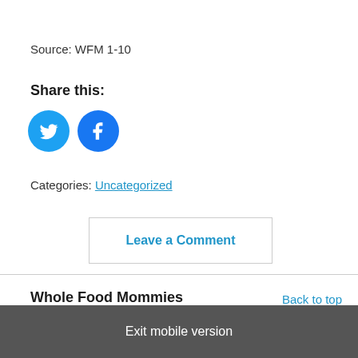Source: WFM 1-10
Share this:
[Figure (illustration): Twitter and Facebook social share icon buttons (blue circles with white bird and f icons)]
Categories: Uncategorized
Leave a Comment
Whole Food Mommies
Back to top
Exit mobile version